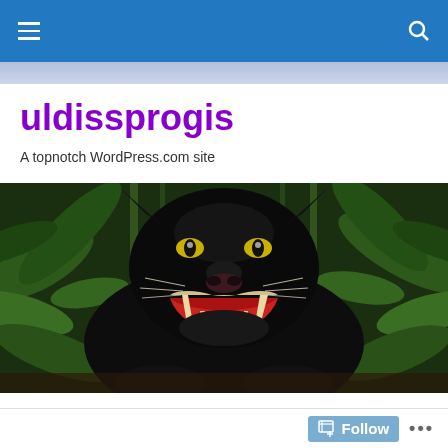uldissprogis — navigation bar
uldissprogis
A topnotch WordPress.com site
[Figure (photo): Black panther snarling with mouth open, showing large fangs, surrounded by green foliage]
5 STEPS TO HOUSEHOLD OR FAMILY PROBLEM SOLVING
Follow